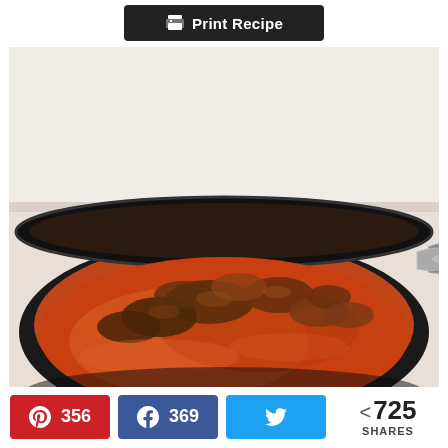[Figure (other): Print Recipe button with dark background, printer icon, and white text]
[Figure (photo): A black cast iron skillet containing a rich, saucy meat dish (curry or stew) with a lid handle visible on the right side, photographed from above at an angle]
356
369
< 725 SHARES